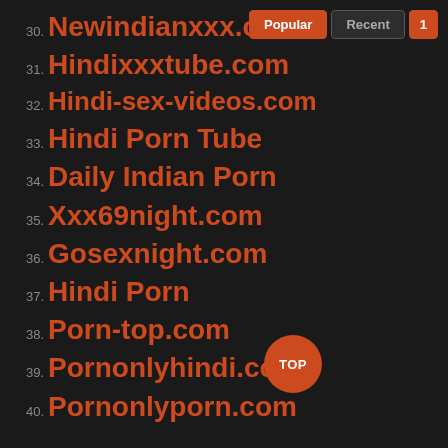30. Newindianxxx.com
31. Hindixxxtube.com
32. Hindi-sex-videos.com
33. Hindi Porn Tube
34. Daily Indian Porn
35. Xxx69night.com
36. Gosexnight.com
37. Hindi Porn
38. Porn-top.com
39. Pornonlyhindi.com
40. Pornonlyporn.com